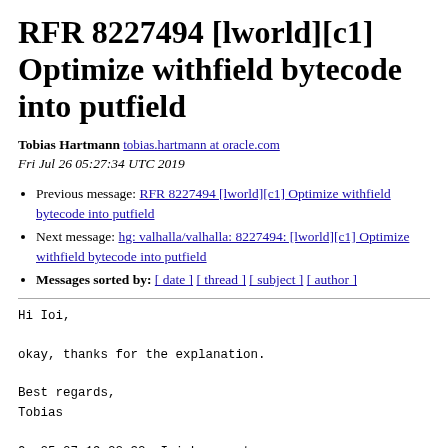RFR 8227494 [lworld][c1] Optimize withfield bytecode into putfield
Tobias Hartmann tobias.hartmann at oracle.com
Fri Jul 26 05:27:34 UTC 2019
Previous message: RFR 8227494 [lworld][c1] Optimize withfield bytecode into putfield
Next message: hg: valhalla/valhalla: 8227494: [lworld][c1] Optimize withfield bytecode into putfield
Messages sorted by: [ date ] [ thread ] [ subject ] [ author ]
Hi Ioi,

okay, thanks for the explanation.

Best regards,
Tobias

On 25.07.19 22:32, Ioi Lam wrote:
> Hi Tobias, thanks for the review.